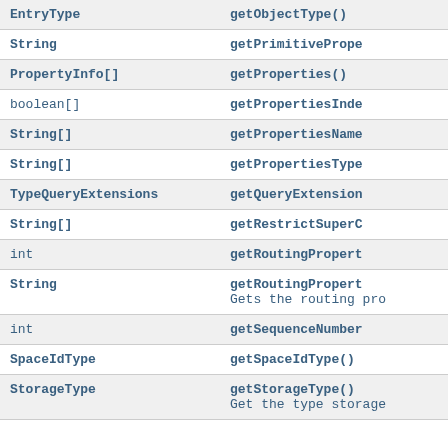| Type | Method |
| --- | --- |
| EntryType | getObjectType() |
| String | getPrimitivePrope… |
| PropertyInfo[] | getProperties() |
| boolean[] | getPropertiesInde… |
| String[] | getPropertiesName… |
| String[] | getPropertiesType… |
| TypeQueryExtensions | getQueryExtension… |
| String[] | getRestrictSuperC… |
| int | getRoutingPropert… |
| String | getRoutingPropert…
Gets the routing pro… |
| int | getSequenceNumber… |
| SpaceIdType | getSpaceIdType() |
| StorageType | getStorageType()
Get the type storage… |